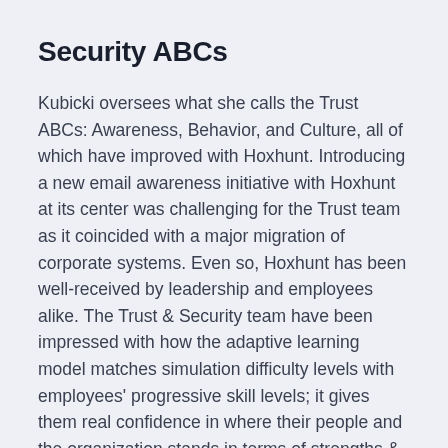Security ABCs
Kubicki oversees what she calls the Trust ABCs: Awareness, Behavior, and Culture, all of which have improved with Hoxhunt. Introducing a new email awareness initiative with Hoxhunt at its center was challenging for the Trust team as it coincided with a major migration of corporate systems. Even so, Hoxhunt has been well-received by leadership and employees alike. The Trust & Security team have been impressed with how the adaptive learning model matches simulation difficulty levels with employees' progressive skill levels; it gives them real confidence in where their people and the organization stands in terms of strengths & weaknesses and social engineering risk.